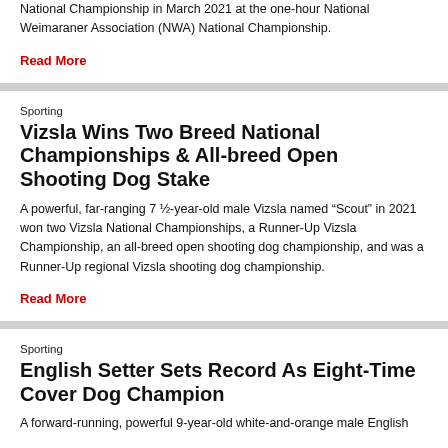National Championship in March 2021 at the one-hour National Weimaraner Association (NWA) National Championship.
Read More
Sporting
Vizsla Wins Two Breed National Championships & All-breed Open Shooting Dog Stake
A powerful, far-ranging 7 ½-year-old male Vizsla named “Scout” in 2021 won two Vizsla National Championships, a Runner-Up Vizsla Championship, an all-breed open shooting dog championship, and was a Runner-Up regional Vizsla shooting dog championship.
Read More
Sporting
English Setter Sets Record As Eight-Time Cover Dog Champion
A forward-running, powerful 9-year-old white-and-orange male English